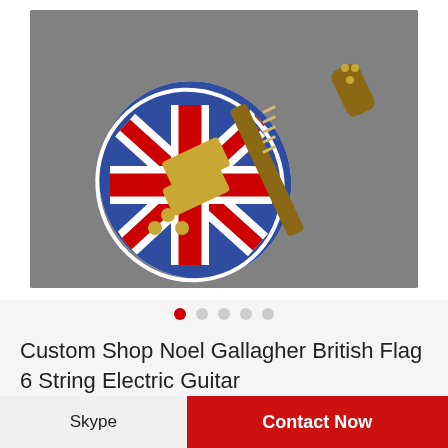[Figure (photo): A Union Jack (British flag) themed electric guitar, styled like a Les Paul, with red, white, and blue flag design on the body, gold hardware including two humbuckers and tuners, lying on a grey carpet background. Date stamp in bottom right corner reads 05 16 2017 09:42.]
● ○ ○ ○ ○
Custom Shop Noel Gallagher British Flag 6 String Electric Guitar
Skype
Contact Now